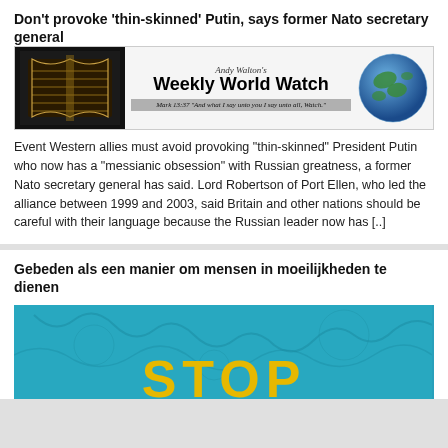Don't provoke 'thin-skinned' Putin, says former Nato secretary general
[Figure (illustration): Andy Walton's Weekly World Watch banner with open Bible on left, globe on right, and tagline: Mark 13:37 'And what I say unto you I say unto all, Watch.']
Event Western allies must avoid provoking "thin-skinned" President Putin who now has a "messianic obsession" with Russian greatness, a former Nato secretary general has said. Lord Robertson of Port Ellen, who led the alliance between 1999 and 2003, said Britain and other nations should be careful with their language because the Russian leader now has [..]
Gebeden als een manier om mensen in moeilijkheden te dienen
[Figure (illustration): Teal/turquoise textured background with large yellow bold letters reading STOP, partially cropped at bottom]